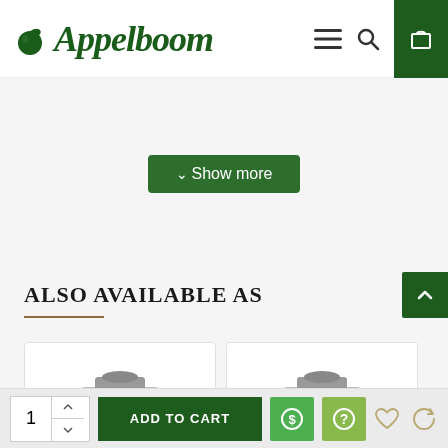Appelboom
Show more
Also available as
[Figure (photo): Two product card images showing pen/writing instrument products, partially visible at bottom]
ADD TO CART